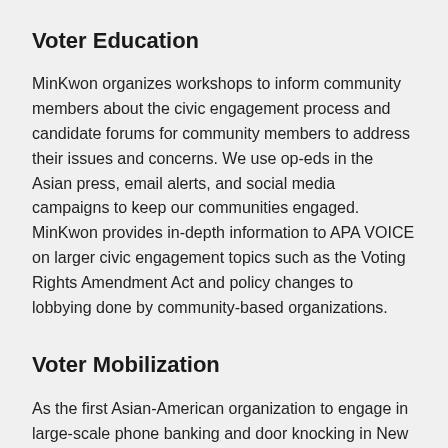Voter Education
MinKwon organizes workshops to inform community members about the civic engagement process and candidate forums for community members to address their issues and concerns. We use op-eds in the Asian press, email alerts, and social media campaigns to keep our communities engaged. MinKwon provides in-depth information to APA VOICE on larger civic engagement topics such as the Voting Rights Amendment Act and policy changes to lobbying done by community-based organizations.
Voter Mobilization
As the first Asian-American organization to engage in large-scale phone banking and door knocking in New York City, MinKwon maintains access to voter databases to analyze and focus on voters who haven't voted in past elections in Get-Out-the-Vote (GOTV) efforts. We provide technical assistance and